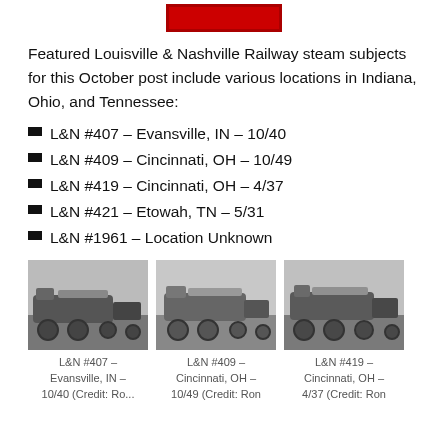[Figure (logo): Louisville & Nashville Railway logo box with red border and red background]
Featured Louisville & Nashville Railway steam subjects for this October post include various locations in Indiana, Ohio, and Tennessee:
L&N #407 – Evansville, IN – 10/40
L&N #409 – Cincinnati, OH – 10/49
L&N #419 – Cincinnati, OH – 4/37
L&N #421 – Etowah, TN – 5/31
L&N #1961 – Location Unknown
[Figure (photo): Black and white photograph of L&N #407 steam locomotive, Evansville, IN]
[Figure (photo): Black and white photograph of L&N #409 steam locomotive, Cincinnati, OH]
[Figure (photo): Black and white photograph of L&N #419 steam locomotive, Cincinnati, OH]
L&N #407 – Evansville, IN – 10/40 (Credit: Ro...
L&N #409 – Cincinnati, OH – 10/49 (Credit: Ron
L&N #419 – Cincinnati, OH – 4/37 (Credit: Ron